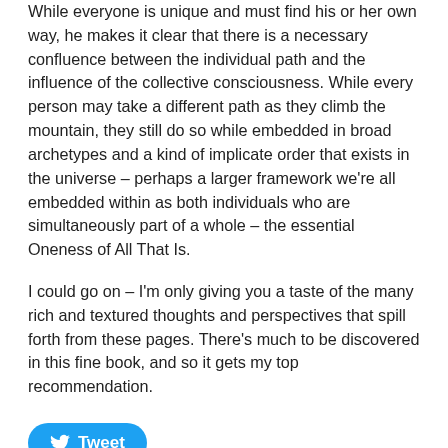While everyone is unique and must find his or her own way, he makes it clear that there is a necessary confluence between the individual path and the influence of the collective consciousness. While every person may take a different path as they climb the mountain, they still do so while embedded in broad archetypes and a kind of implicate order that exists in the universe – perhaps a larger framework we're all embedded within as both individuals who are simultaneously part of a whole – the essential Oneness of All That Is.
I could go on – I'm only giving you a taste of the many rich and textured thoughts and perspectives that spill forth from these pages. There's much to be discovered in this fine book, and so it gets my top recommendation.
[Figure (other): Twitter Tweet button — a rounded blue button with the Twitter bird icon and the label 'Tweet']
Ken Korczak is a former newspaper reporter, government